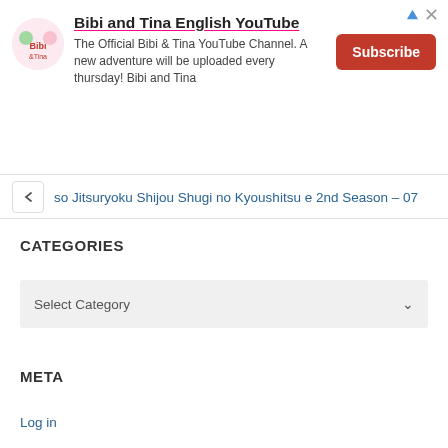[Figure (infographic): Advertisement banner for Bibi and Tina English YouTube channel with logo, text and Subscribe button]
so Jitsuryoku Shijou Shugi no Kyoushitsu e 2nd Season – 07
CATEGORIES
Select Category
META
Log in
Entries feed
Comments feed